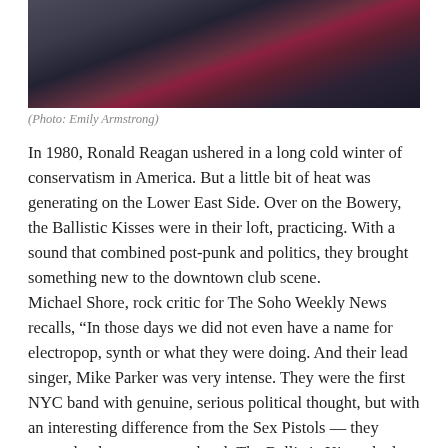[Figure (photo): Black and white photo of people, partially cropped at top of page, showing figures in dark clothing with one person in a red or bright-colored top in the center.]
(Photo: Emily Armstrong)
In 1980, Ronald Reagan ushered in a long cold winter of conservatism in America. But a little bit of heat was generating on the Lower East Side. Over on the Bowery, the Ballistic Kisses were in their loft, practicing. With a sound that combined post-punk and politics, they brought something new to the downtown club scene.
Michael Shore, rock critic for The Soho Weekly News recalls, “In those days we did not even have a name for electropop, synth or what they were doing. And their lead singer, Mike Parker was very intense. They were the first NYC band with genuine, serious political thought, but with an interesting difference from the Sex Pistols — they seemed to be more street level. The Ballistic Kisses had an honest, urgent, sincere political thing going on.”